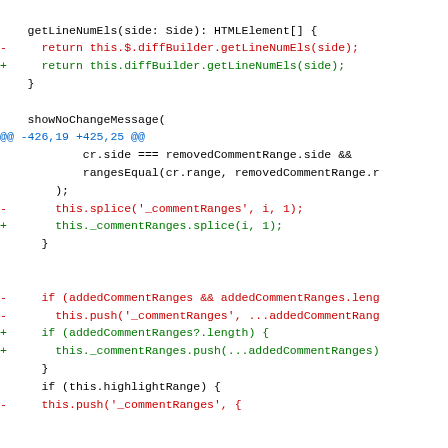[Figure (screenshot): A code diff showing changes to JavaScript/TypeScript source code. The diff includes changes to getLineNumEls and showNoChangeMessage functions, with removed lines in red and added lines in green, and hunk headers in blue.]